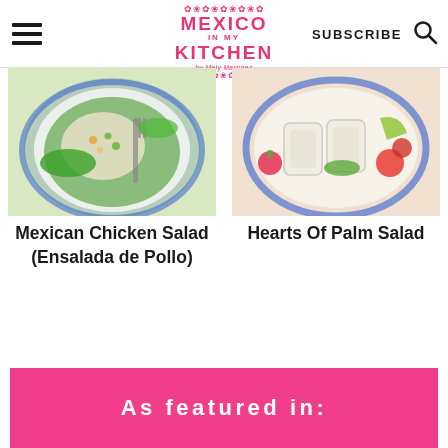Mexico In My Kitchen — SUBSCRIBE
[Figure (photo): Mexican chicken salad (Ensalada de Pollo) on a blue-rimmed plate with lettuce and fork]
Mexican Chicken Salad (Ensalada de Pollo)
[Figure (photo): Hearts of palm salad on a blue-rimmed plate with radishes, lime and tomatoes]
Hearts Of Palm Salad
As featured in: